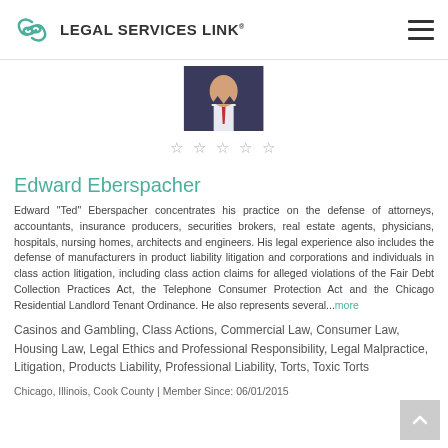LEGAL SERVICES LINK
[Figure (photo): Headshot of Edward Eberspacher in suit and red tie]
Edward Eberspacher
Edward "Ted" Eberspacher concentrates his practice on the defense of attorneys, accountants, insurance producers, securities brokers, real estate agents, physicians, hospitals, nursing homes, architects and engineers. His legal experience also includes the defense of manufacturers in product liability litigation and corporations and individuals in class action litigation, including class action claims for alleged violations of the Fair Debt Collection Practices Act, the Telephone Consumer Protection Act and the Chicago Residential Landlord Tenant Ordinance. He also represents several...more
Casinos and Gambling, Class Actions, Commercial Law, Consumer Law, Housing Law, Legal Ethics and Professional Responsibility, Legal Malpractice, Litigation, Products Liability, Professional Liability, Torts, Toxic Torts
Chicago, Illinois, Cook County | Member Since: 06/01/2015